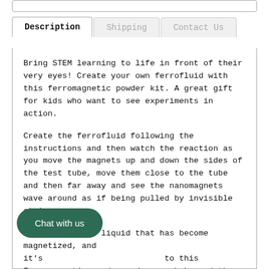Description | Shipping | Contact Us
Bring STEM learning to life in front of their very eyes! Create your own ferrofluid with this ferromagnetic powder kit. A great gift for kids who want to see experiments in action.
Create the ferrofluid following the instructions and then watch the reaction as you move the magnets up and down the sides of the test tube, move them close to the tube and then far away and see the nanomagnets wave around as if being pulled by invisible strings.
Ferrofluid is a liquid that has become magnetized, and it's [Chat with us] to this Ferromagnetic powder and shake and then use the magnet to collect your ferrofluid in the test tube. Or, if you want something you can play with outside of your test tube, then